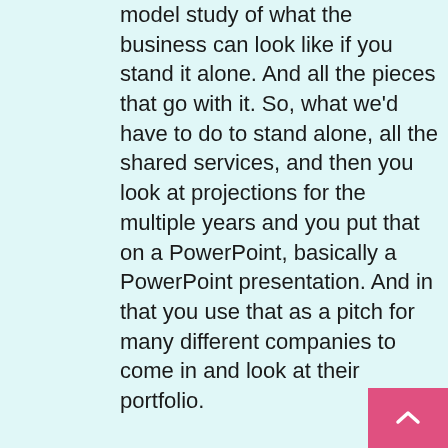model study of what the business can look like if you stand it alone. And all the pieces that go with it. So, what we'd have to do to stand alone, all the shared services, and then you look at projections for the multiple years and you put that on a PowerPoint, basically a PowerPoint presentation. And in that you use that as a pitch for many different companies to come in and look at their portfolio.
So we put the deck together and we had hired a broker and the broker sends out this deck to many PE firms, strategic companies, all different types of companies that would be interested in buying a portfolio company or looking at beauty in general on our space. And then the